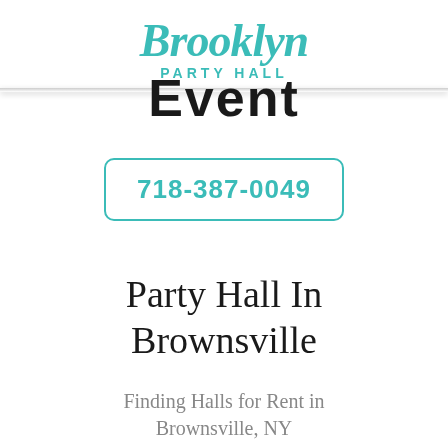[Figure (logo): Brooklyn Party Hall logo in teal/turquoise script font with 'PARTY HALL' in block letters below]
Event
718-387-0049
Party Hall In Brownsville
Finding Halls for Rent in Brownsville, NY